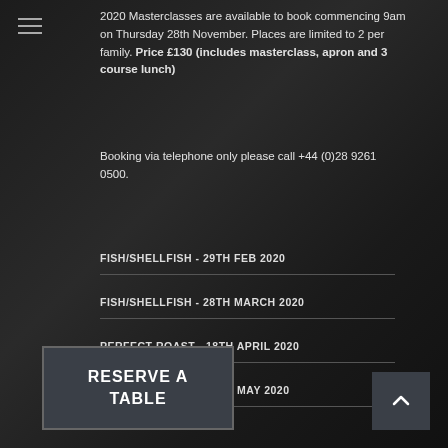2020 Masterclasses are available to book commencing 9am on Thursday 28th November. Places are limited to 2 per family. Price £130 (includes masterclass, apron and 3 course lunch)
Booking via telephone only please call +44 (0)28 9261 0500.
FISH/SHELLFISH - 29TH FEB 2020
FISH/SHELLFISH - 28TH MARCH 2020
PERFECT ROAST - 18TH APRIL 2020
PERFECT ROAST - 30TH MAY 2020
RESERVE A TABLE